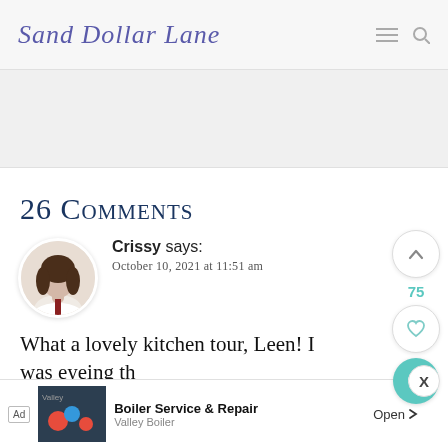Sand Dollar Lane
[Figure (other): White/light gray rectangular banner ad placeholder area]
26 Comments
[Figure (photo): Circular avatar photo of Crissy, a woman with dark hair]
Crissy says:
October 10, 2021 at 11:51 am
What a lovely kitchen tour, Leen! I was eyeing th
[Figure (other): Bottom advertisement banner: Boiler Service & Repair - Valley Boiler, with Open button]
[Figure (other): Floating side UI: up chevron button (75), heart button, teal search button, X close button]